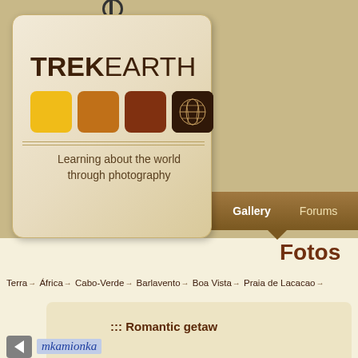[Figure (logo): TrekEarth logo — a luggage tag with string/ring, bold TREKEARTH text, four colored squares (yellow, amber, brown, dark-brown with world map), horizontal decorative lines, and tagline 'Learning about the world through photography']
Home   Gallery   Forums   C
Fotos
Terra → África → Cabo-Verde → Barlavento → Boa Vista → Praia de Lacacao →
::: Romantic getaw
mkamionka